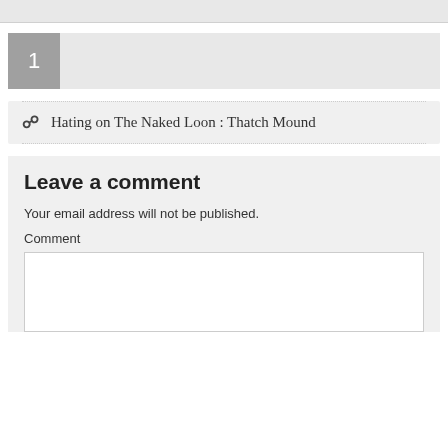1
Hating on The Naked Loon : Thatch Mound
Leave a comment
Your email address will not be published.
Comment